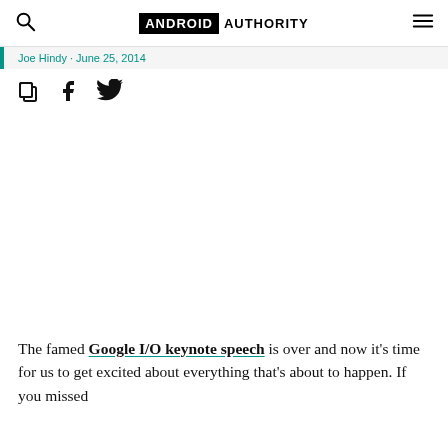ANDROID AUTHORITY
Joe Hindy · June 25, 2014
[Figure (other): Social share icons: copy, Facebook, Twitter]
[Figure (photo): Large blank/white image area]
The famed Google I/O keynote speech is over and now it's time for us to get excited about everything that's about to happen. If you missed